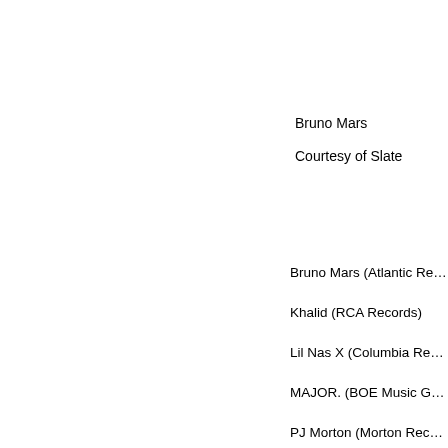Bruno Mars
Courtesy of Slate
Bruno Mars (Atlantic Re…
Khalid (RCA Records)
Lil Nas X (Columbia Re…
MAJOR. (BOE Music G…
PJ Morton (Morton Rec…
Outstanding Female …
India.Arie
Gilbert Carrasquill…
Beyoncé (Parkwood En…
Fantasia (Rock Soul Inc…
H.E.R. (RCA Records)
India.Arie (India.Arie…